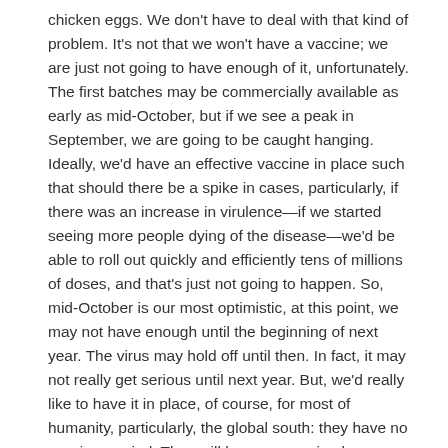chicken eggs. We don't have to deal with that kind of problem. It's not that we won't have a vaccine; we are just not going to have enough of it, unfortunately. The first batches may be commercially available as early as mid-October, but if we see a peak in September, we are going to be caught hanging. Ideally, we'd have an effective vaccine in place such that should there be a spike in cases, particularly, if there was an increase in virulence—if we started seeing more people dying of the disease—we'd be able to roll out quickly and efficiently tens of millions of doses, and that's just not going to happen. So, mid-October is our most optimistic, at this point, we may not have enough until the beginning of next year. The virus may hold off until then. In fact, it may not really get serious until next year. But, we'd really like to have it in place, of course, for most of humanity, particularly, the global south: they have no vaccine, period. They will have no vaccine because we and Europe have all the vaccine production capacity. The World Health Organization has been begging these companies to just donate ten percent of vaccines they're making for the developed world to the bulk of humanity. To the billions of